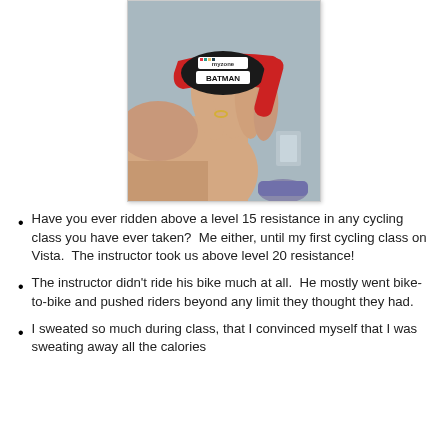[Figure (photo): A hand holding a red Myzone heart rate monitor strap with a label reading 'BATMAN'. The device has a black oval sensor pod with the Myzone logo. Background shows a room with a grey wall and a shoe visible at the bottom.]
Have you ever ridden above a level 15 resistance in any cycling class you have ever taken?  Me either, until my first cycling class on Vista.  The instructor took us above level 20 resistance!
The instructor didn't ride his bike much at all.  He mostly went bike-to-bike and pushed riders beyond any limit they thought they had.
I sweated so much during class, that I convinced myself that I was sweating away all the calories